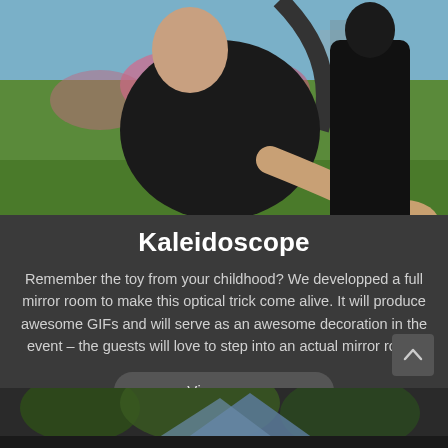[Figure (photo): Two people in black clothing in an outdoor garden/park setting, one person leaning back with arm outstretched toward the camera.]
Kaleidoscope
Remember the toy from your childhood? We developped a full mirror room to make this optical trick come alive. It will produce awesome GIFs and will serve as an awesome decoration in the event – the guests will love to step into an actual mirror room.
[Figure (photo): Bottom partial image showing outdoor trees and what appears to be a tent or canopy structure in blue/grey tones.]